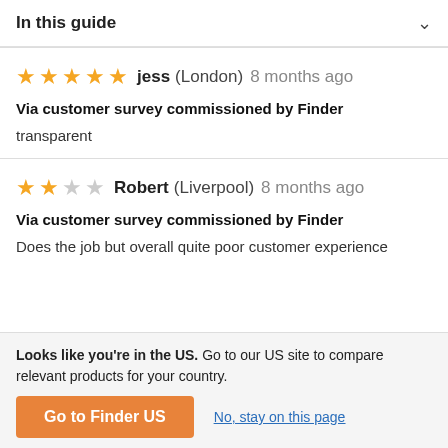In this guide
★★★★★ jess (London) 8 months ago
Via customer survey commissioned by Finder
transparent
★★☆☆☆ Robert (Liverpool) 8 months ago
Via customer survey commissioned by Finder
Does the job but overall quite poor customer experience
Looks like you're in the US. Go to our US site to compare relevant products for your country.
Go to Finder US
No, stay on this page